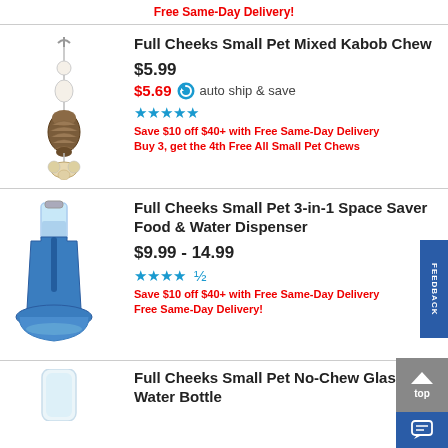Free Same-Day Delivery!
[Figure (photo): Full Cheeks Small Pet Mixed Kabob Chew product image - a hanging chew toy with wooden beads and pine cone on a string]
Full Cheeks Small Pet Mixed Kabob Chew
$5.99
$5.69 auto ship & save
[Figure (other): 5 star rating - full stars]
Save $10 off $40+ with Free Same-Day Delivery
Buy 3, get the 4th Free All Small Pet Chews
[Figure (photo): Full Cheeks Small Pet 3-in-1 Space Saver Food & Water Dispenser product image - a blue plastic food and water dispenser]
Full Cheeks Small Pet 3-in-1 Space Saver Food & Water Dispenser
$9.99 - 14.99
[Figure (other): 4.5 star rating]
Save $10 off $40+ with Free Same-Day Delivery
Free Same-Day Delivery!
[Figure (photo): Full Cheeks Small Pet No-Chew Glass Water Bottle product image - partial view]
Full Cheeks Small Pet No-Chew Glass Water Bottle